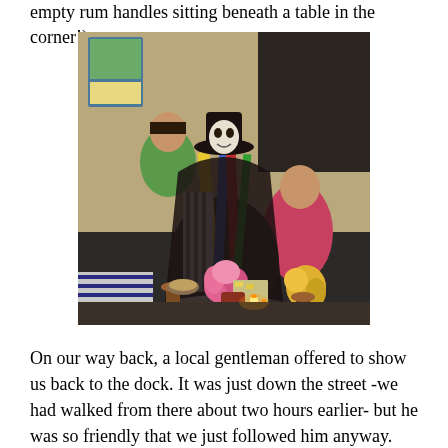empty rum handles sitting beneath a table in the corner!)
[Figure (photo): Interior photo showing a decorated religious statue or folk figure dressed in colorful robes and hat, surrounded by flowers (pink and yellow), candles, and offerings on a low table. Two people are visible in the background in what appears to be a dimly lit room.]
On our way back, a local gentleman offered to show us back to the dock. It was just down the street -we had walked from there about two hours earlier- but he was so friendly that we just followed him anyway.